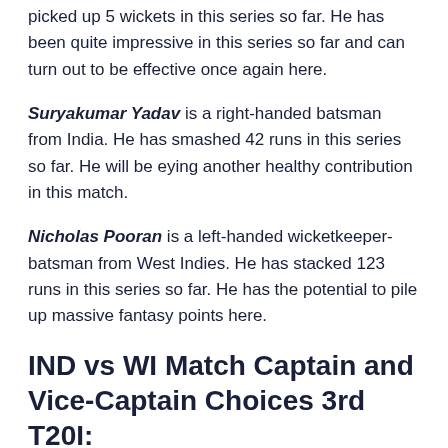picked up 5 wickets in this series so far. He has been quite impressive in this series so far and can turn out to be effective once again here.
Suryakumar Yadav is a right-handed batsman from India. He has smashed 42 runs in this series so far. He will be eying another healthy contribution in this match.
Nicholas Pooran is a left-handed wicketkeeper-batsman from West Indies. He has stacked 123 runs in this series so far. He has the potential to pile up massive fantasy points here.
IND vs WI Match Captain and Vice-Captain Choices 3rd T20I: